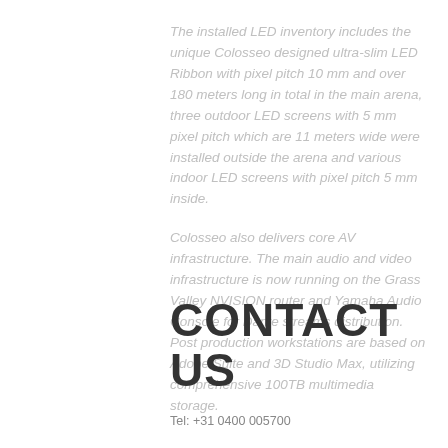The installed LED inventory includes the unique Colosseo designed ultra-slim LED Ribbon with pixel pitch 10 mm and over 180 meters long in total in the main arena, three outdoor LED screens with 5 mm pixel pitch which are 11 meters wide were installed outside the arena and various indoor LED screens with pixel pitch 5 mm inside.
Colosseo also delivers core AV infrastructure. The main audio and video infrastructure is now running on the Grass Valley NVISION router and Yamaha Audio Console for Dante streams distribution. Post production workstations are based on Adobe Suite and 3D Studio Max, utilizing comprehensive 100TB multimedia storage.
CONTACT US
Tel: +31 0400 005700